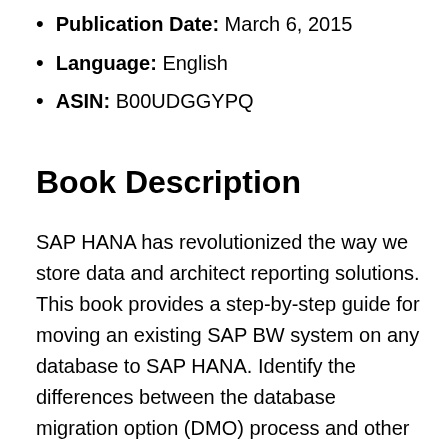Publication Date: March 6, 2015
Language: English
ASIN: B00UDGGYPQ
Book Description
SAP HANA has revolutionized the way we store data and architect reporting solutions. This book provides a step-by-step guide for moving an existing SAP BW system on any database to SAP HANA. Identify the differences between the database migration option (DMO) process and other options. Get sample staffing plans, tools for hardware sizing and planning, and budgeting tips for planning your migration project.